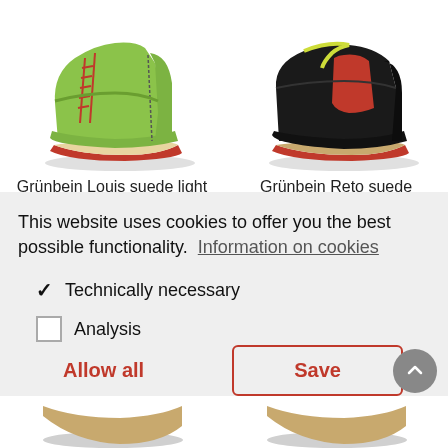[Figure (photo): Green high-top sneaker boot with red laces and red sole trim (Grünbein Louis suede light)]
Grünbein Louis suede light
[Figure (photo): Black suede Chelsea boot with red elastic side panel and tan sole (Grünbein Reto suede)]
Grünbein Reto suede
This website uses cookies to offer you the best possible functionality.  Information on cookies
✓  Technically necessary
☐  Analysis
Allow all
Save
[Figure (photo): Bottom portions of two shoes visible at the very bottom of the page]